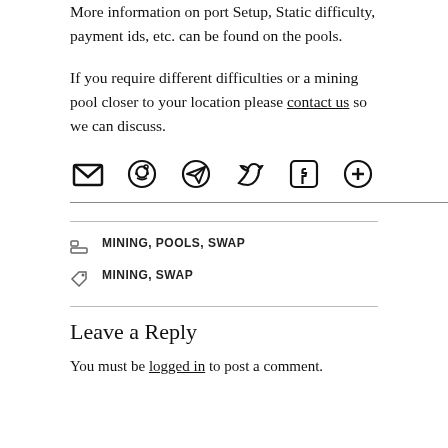More information on port Setup, Static difficulty, payment ids, etc. can be found on the pools.
If you require different difficulties or a mining pool closer to your location please contact us so we can discuss.
[Figure (other): Social share icons: email, Reddit, Telegram, Twitter, Facebook, More]
CATEGORIES: MINING, POOLS, SWAP
TAGS: MINING, SWAP
Leave a Reply
You must be logged in to post a comment.